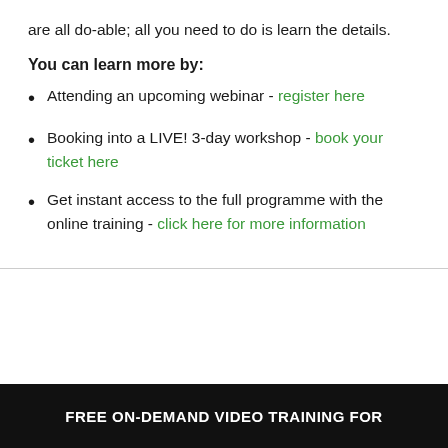are all do-able; all you need to do is learn the details.
You can learn more by:
Attending an upcoming webinar - register here
Booking into a LIVE! 3-day workshop - book your ticket here
Get instant access to the full programme with the online training - click here for more information
FREE ON-DEMAND VIDEO TRAINING FOR